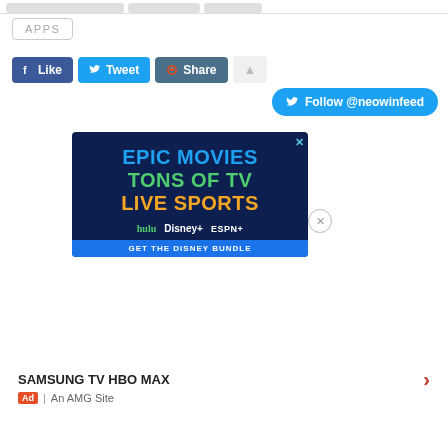[Figure (screenshot): Top navigation tab placeholders (grey bars)]
APPS
[Figure (screenshot): Social sharing buttons: Like (Facebook), Tweet (Twitter), Share (Reddit), flag button]
[Figure (screenshot): Follow @neowinfeed Twitter button]
[Figure (screenshot): Advertisement banner: EPIC MOVIES / TONS OF TV / LIVE SPORTS with Hulu, Disney+, ESPN+ logos on dark blue background]
SAMSUNG TV HBO MAX
Ad | An AMG Site